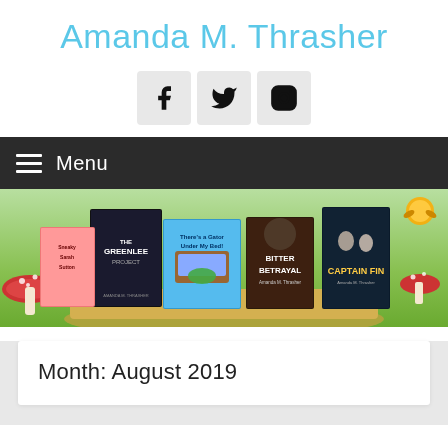Amanda M. Thrasher
[Figure (infographic): Three social media icons: Facebook, Twitter, Instagram in light gray square buttons]
≡ Menu
[Figure (photo): Banner image showing multiple book covers by Amanda M. Thrasher including The Greenlee Project, There's a Gator Under My Bed, Bitter Betrayal, Captain Fin, and others, displayed against a green background with mushrooms and fairy tale elements]
Month: August 2019